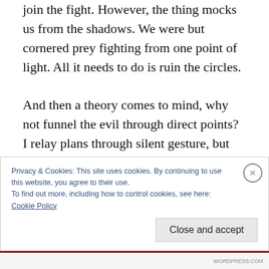join the fight.  However, the thing mocks us from the shadows.  We were but cornered prey fighting from one point of light.  All it needs to do is ruin the circles.

And then a theory comes to mind, why not funnel the evil through direct points?  I relay plans through silent gesture, but they seemed to grasp the idea well enough.  Much of the circle was protected from corrosion, save for intentionally ignored segments.  The murderer
Privacy & Cookies: This site uses cookies. By continuing to use this website, you agree to their use.
To find out more, including how to control cookies, see here:
Cookie Policy
Close and accept